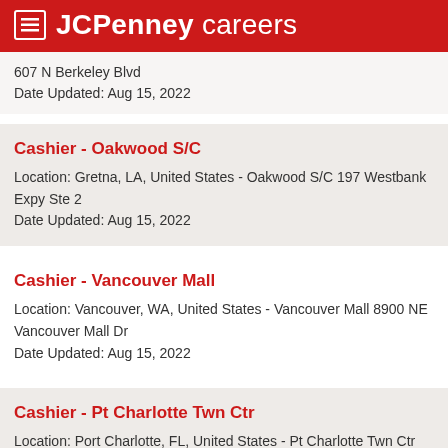JCPenney careers
607 N Berkeley Blvd
Date Updated: Aug 15, 2022
Cashier - Oakwood S/C
Location: Gretna, LA, United States - Oakwood S/C 197 Westbank Expy Ste 2
Date Updated: Aug 15, 2022
Cashier - Vancouver Mall
Location: Vancouver, WA, United States - Vancouver Mall 8900 NE Vancouver Mall Dr
Date Updated: Aug 15, 2022
Cashier - Pt Charlotte Twn Ctr
Location: Port Charlotte, FL, United States - Pt Charlotte Twn Ctr 1441 Tamiami Trail
Date Updated: Aug 15, 2022